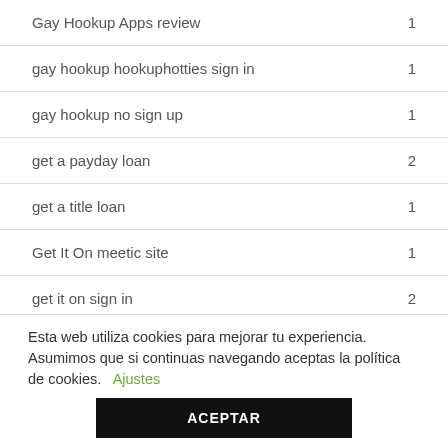Gay Hookup Apps review    1
gay hookup hookuphotties sign in    1
gay hookup no sign up    1
get a payday loan    2
get a title loan    1
Get It On meetic site    1
get it on sign in    2
Esta web utiliza cookies para mejorar tu experiencia. Asumimos que si continuas navegando aceptas la política de cookies.   Ajustes
ACEPTAR